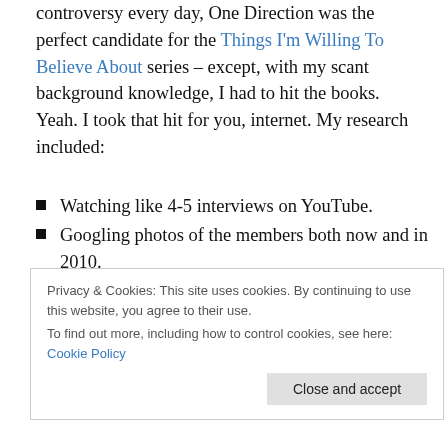What with their new album and a new press-generated controversy every day, One Direction was the perfect candidate for the Things I'm Willing To Believe About series – except, with my scant background knowledge, I had to hit the books. Yeah. I took that hit for you, internet. My research included:
Watching like 4-5 interviews on YouTube.
Googling photos of the members both now and in 2010.
Listening to the new album. It's a really good, solid pop album to be honest.
Privacy & Cookies: This site uses cookies. By continuing to use this website, you agree to their use. To find out more, including how to control cookies, see here: Cookie Policy